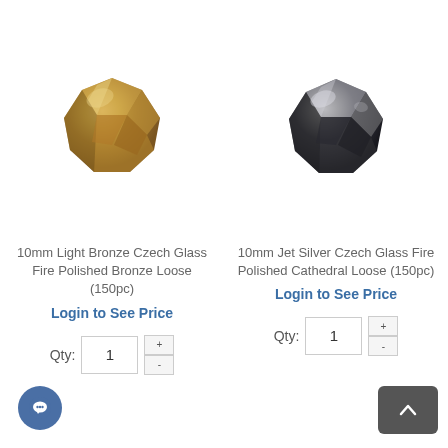[Figure (photo): Gold/bronze faceted Czech glass fire polished bead, approximately 10mm, shown from above on white background]
[Figure (photo): Jet silver faceted Czech glass fire polished cathedral bead, approximately 10mm, shown from above on white background, dark with silver metallic facets]
10mm Light Bronze Czech Glass Fire Polished Bronze Loose (150pc)
Login to See Price
10mm Jet Silver Czech Glass Fire Polished Cathedral Loose (150pc)
Login to See Price